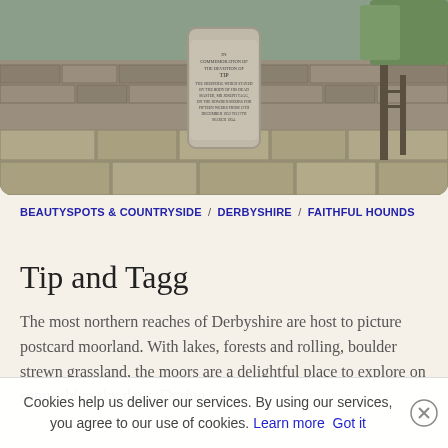[Figure (photo): A stone memorial/grave marker with inscribed text, set against a dry stone wall with paved flagstone ground. The marker reads 'In Commemoration of the Devotion of Tip' and other text about a dog remaining by his dead master.]
BEAUTYSPOTS & COUNTRYSIDE / DERBYSHIRE / FAITHFUL HOUNDS
Tip and Tagg
The most northern reaches of Derbyshire are host to picture postcard moorland. With lakes, forests and rolling, boulder strewn grassland, the moors are a delightful place to explore on sunny, blue sky days. During...
Cookies help us deliver our services. By using our services, you agree to our use of cookies. Learn more Got it